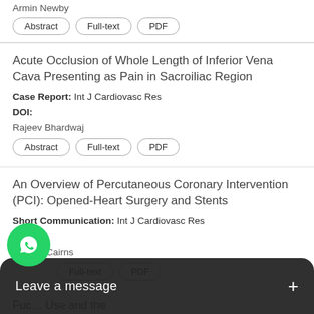Armin Newby
Abstract | Full-text | PDF
Acute Occlusion of Whole Length of Inferior Vena Cava Presenting as Pain in Sacroiliac Region
Case Report: Int J Cardiovasc Res
DOI:
Rajeev Bhardwaj
Abstract | Full-text | PDF
An Overview of Percutaneous Coronary Intervention (PCI): Opened-Heart Surgery and Stents
Short Communication: Int J Cardiovasc Res
DOI:
Markku Cairns
Abstract | Full-text | PDF
Fuc... Use and the Mo...